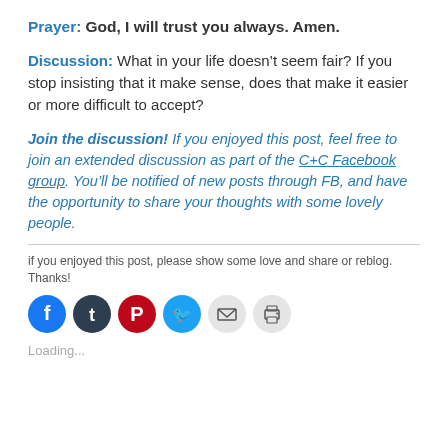Prayer: God, I will trust you always. Amen.
Discussion: What in your life doesn't seem fair? If you stop insisting that it make sense, does that make it easier or more difficult to accept?
Join the discussion! If you enjoyed this post, feel free to join an extended discussion as part of the C+C Facebook group. You'll be notified of new posts through FB, and have the opportunity to share your thoughts with some lovely people.
if you enjoyed this post, please show some love and share or reblog. Thanks!
[Figure (other): Row of social media share icons: Facebook (blue circle), Tumblr (dark blue circle), Pinterest (red circle), Twitter (cyan circle), Email (light gray circle), Print (light gray circle)]
Loading...